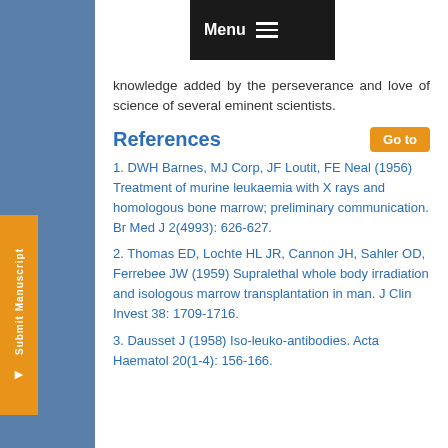knowledge added by the perseverance and love of science of several eminent scientists.
References
1. DWH Barnes, MJ Corp, JF Loutit, FE Neal (1956) Treatment of murine leukaemia with X rays and homologous bone marrow; preliminary communication. Br Med J 2(4993): 626-627.
2. Thomas ED, Lochte HL JR, Cannon JH, Sahler OD, Ferrebee JW (1959) Supralethal whole body irradiation and isologous marrow transplantation in man. J Clin Invest 38: 1709-1716.
3. Dausset J (1958) Iso-leuko-antibodies. Acta Haematol 20(1-4): 156-166.